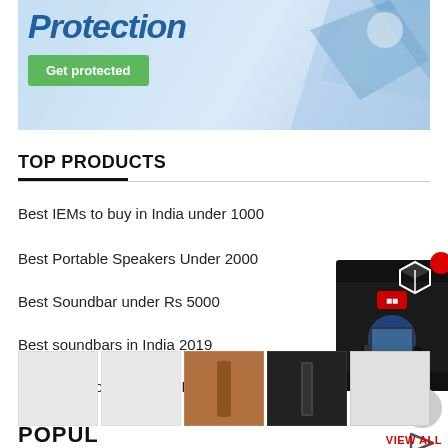[Figure (screenshot): Advertisement banner showing 'Protection' text in italic bold blue font, a green 'Get protected' button, and decorative blue chevron/diamond shapes on a light blue gradient background.]
TOP PRODUCTS
Best IEMs to buy in India under 1000
Best Portable Speakers Under 2000
Best Soundbar under Rs 5000
Best soundbars in India 2019
Best Bluetooth Wireless Earphones
[Figure (screenshot): Product advertisement popup showing a soundbar image with price ₹1,33,689.99 on dark background, with a red notification dot and 3D cube icon.]
[Figure (screenshot): Thumbnail strip showing 5 product images including portable speakers in brown/black colors.]
POPUL
VIEW ALL